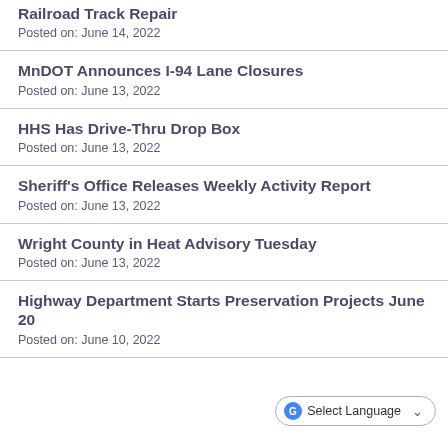Railroad Track Repair
Posted on: June 14, 2022
MnDOT Announces I-94 Lane Closures
Posted on: June 13, 2022
HHS Has Drive-Thru Drop Box
Posted on: June 13, 2022
Sheriff's Office Releases Weekly Activity Report
Posted on: June 13, 2022
Wright County in Heat Advisory Tuesday
Posted on: June 13, 2022
Highway Department Starts Preservation Projects June 20
Posted on: June 10, 2022